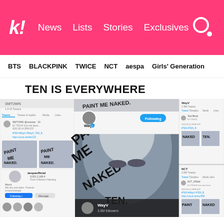k! News Lists Stories Exclusives
BTS BLACKPINK TWICE NCT aespa Girls' Generation
TEN IS EVERYWHERE
[Figure (screenshot): Collage of social media screenshots (Twitter/X and Instagram) showing WayV account with profile images featuring Ten with graffiti-style text reading PAINT ME NAKED and TEN across multiple screenshots from different accounts including aespaofficial and NCT]